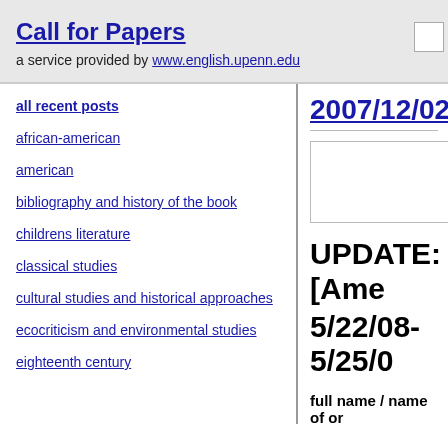Call for Papers — a service provided by www.english.upenn.edu
all recent posts
african-american
american
bibliography and history of the book
childrens literature
classical studies
cultural studies and historical approaches
ecocriticism and environmental studies
eighteenth century
2007/12/02
[Figure (other): Advertisement box (empty)]
UPDATE: [Ame
5/22/08-5/25/0
full name / name of or
Mary Wearn
contact email: